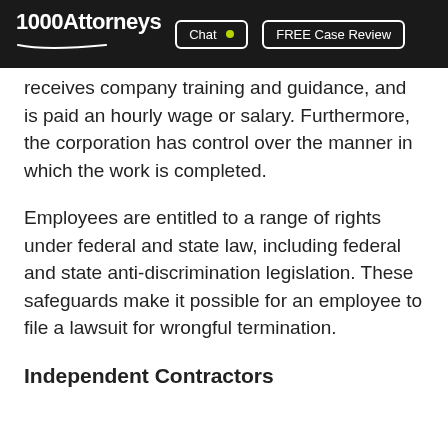1000Attorneys | Chat | FREE Case Review
receives company training and guidance, and is paid an hourly wage or salary. Furthermore, the corporation has control over the manner in which the work is completed.
Employees are entitled to a range of rights under federal and state law, including federal and state anti-discrimination legislation. These safeguards make it possible for an employee to file a lawsuit for wrongful termination.
Independent Contractors